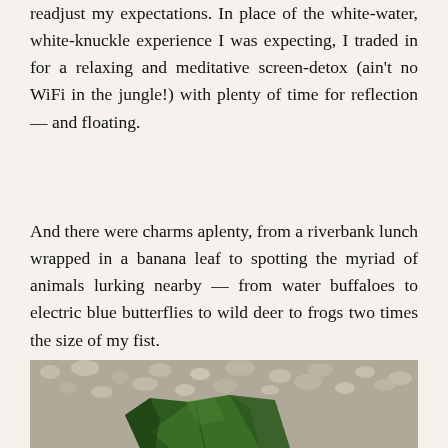readjust my expectations. In place of the white-water, white-knuckle experience I was expecting, I traded in for a relaxing and meditative screen-detox (ain't no WiFi in the jungle!) with plenty of time for reflection — and floating.
And there were charms aplenty, from a riverbank lunch wrapped in a banana leaf to spotting the myriad of animals lurking nearby — from water buffaloes to electric blue butterflies to wild deer to frogs two times the size of my fist.
[Figure (photo): A banana leaf wrapped lunch package resting on a pebbly riverbank surface. The leaf parcel is dark green and folded, set against a background of grey and beige river stones/gravel.]